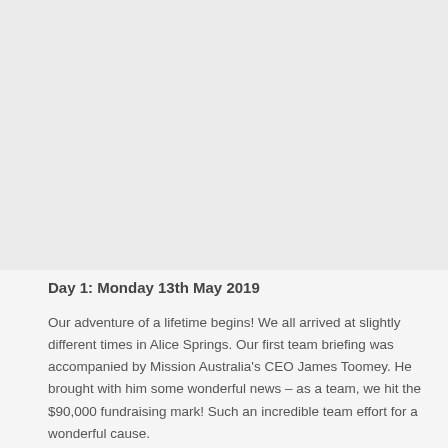[Figure (photo): Large photograph occupying the upper portion of the page (content not visible — appears as a light grey placeholder)]
Day 1: Monday 13th May 2019
Our adventure of a lifetime begins! We all arrived at slightly different times in Alice Springs. Our first team briefing was accompanied by Mission Australia's CEO James Toomey. He brought with him some wonderful news – as a team, we hit the $90,000 fundraising mark! Such an incredible team effort for a wonderful cause.